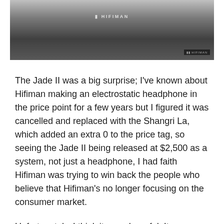[Figure (photo): Cropped photo of a Hifiman headphone/audio device, dark hardware on a gray background, with Hifiman branding visible at the top and a small badge in the lower right corner.]
The Jade II was a big surprise; I've known about Hifiman making an electrostatic headphone in the price point for a few years but I figured it was cancelled and replaced with the Shangri La, which added an extra 0 to the price tag, so seeing the Jade II being released at $2,500 as a system, not just a headphone, I had faith Hifiman was trying to win back the people who believe that Hifiman's no longer focusing on the consumer market.
Unfortunately, I think it sounds awful. It was painfully bright, the bass was incredibly anemic and ethereal, so it kind of felt like listening to IEMs